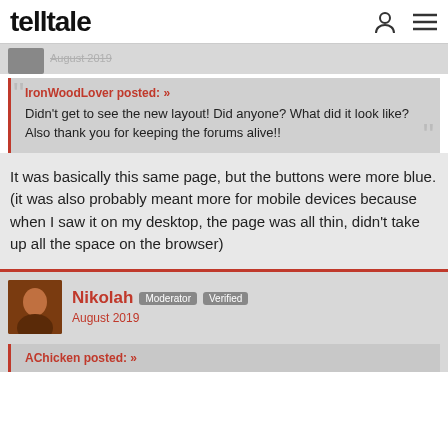telltale
August 2019
IronWoodLover posted: »
Didn't get to see the new layout! Did anyone? What did it look like? Also thank you for keeping the forums alive!!
It was basically this same page, but the buttons were more blue. (it was also probably meant more for mobile devices because when I saw it on my desktop, the page was all thin, didn't take up all the space on the browser)
Nikolah Moderator Verified
August 2019
AChicken posted: »